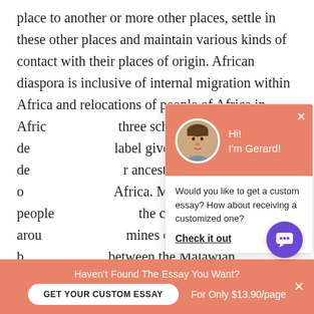place to another or more other places, settle in these other places and maintain various kinds of contact with their places of origin. African diaspora is inclusive of internal migration within Africa and relocations of people of Africa in Africa... three scholars above des... label given to African de... ancestors relocated to o... Africa. Malawian people... the colonial period arou... mines or farms and the b... between the Malawian a... Mandivenga (1983) The C... Zimbabwe are commonly referred to as Mabhura...
[Figure (screenshot): Chat popup widget with avatar of a man named Gerard, salmon/coral header background, asking if user would like a custom essay with a 'Check it out' link.]
Haven't Found The Essay You Want?
GET YOUR CUSTOM ESSAY   For Only $13.90/page